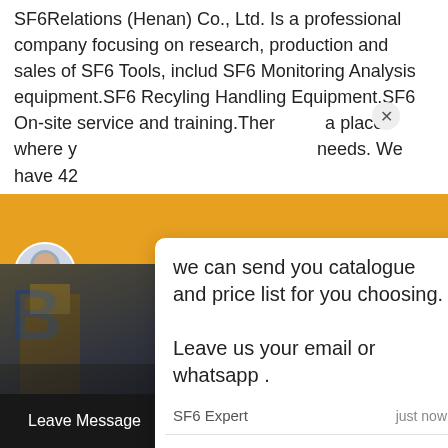SF6Relations (Henan) Co., Ltd. Is a professional company focusing on research, production and sales of SF6 Tools, includ SF6 Monitoring Analysis equipment.SF6 Recyling Handling Equipment.SF6 On-site service and training.There a place where y needs. We have 42
[Figure (screenshot): Chat popup overlay with message 'we can send you catalogue and price list for you choosing. Leave us your email or whatsapp .' from SF6 Expert, just now. Close button (X) visible. Reply box with 'Write a reply..' placeholder and thumbs-up and paperclip icons.]
[Figure (screenshot): Green circular chat button with white speech bubble icon and red badge showing '1' notification in top right. Orange avatar circle on bottom right area. Customer service representative photo at bottom center. Bottom navigation bar with 'Leave Message' and 'Chat Online' links on dark background. Industrial/outdoor background photo visible.]